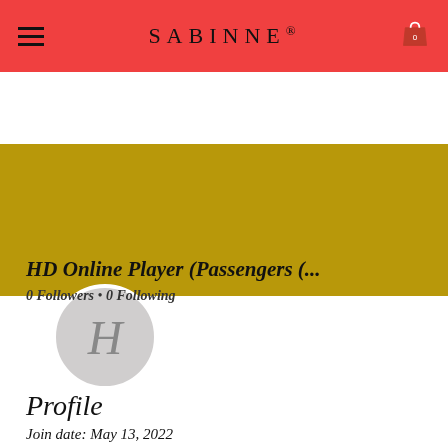SABINNE®
[Figure (screenshot): Golden/olive colored profile cover banner background]
[Figure (illustration): Circular grey avatar placeholder with letter H]
Follow
HD Online Player (Passengers (...
0 Followers • 0 Following
Profile
Join date: May 13, 2022